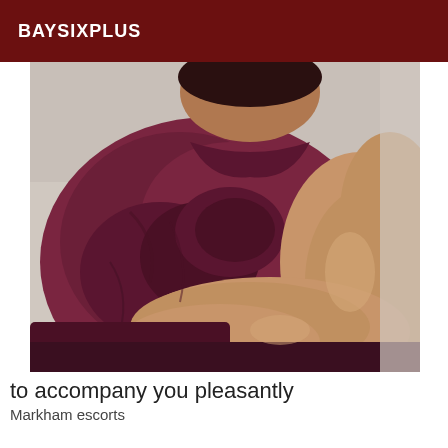BAYSIXPLUS
[Figure (photo): Close-up photo of a person wearing a dark reddish-burgundy t-shirt with arms crossed, taken from chest/shoulder level]
to accompany you pleasantly
Markham escorts